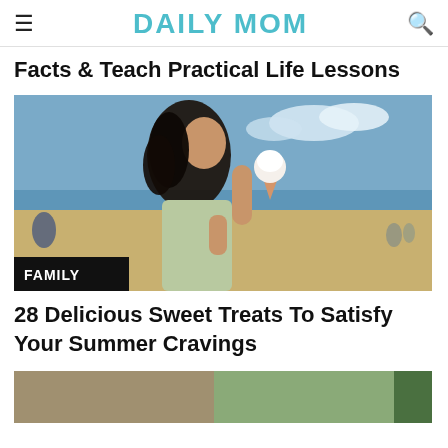DAILY MOM
Facts & Teach Practical Life Lessons
[Figure (photo): Woman at a beach holding an ice cream cone, smiling with eyes closed, with beach and ocean in background. A black badge labeled FAMILY is overlaid at the bottom left.]
28 Delicious Sweet Treats To Satisfy Your Summer Cravings
[Figure (photo): Partial view of a second article image, appears to show an outdoor or cafe setting, cropped at the bottom of the page.]